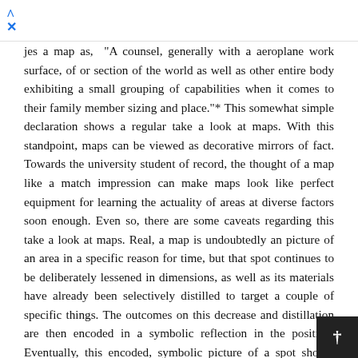↑ ×
jes a map as, "A counsel, generally with a aeroplane work surface, of or section of the world as well as other entire body exhibiting a small grouping of capabilities when it comes to their family member sizing and place."* This somewhat simple declaration shows a regular take a look at maps. With this standpoint, maps can be viewed as decorative mirrors of fact. Towards the university student of record, the thought of a map like a match impression can make maps look like perfect equipment for learning the actuality of areas at diverse factors soon enough. Even so, there are some caveats regarding this take a look at maps. Real, a map is undoubtedly an picture of an area in a specific reason for time, but that spot continues to be deliberately lessened in dimensions, as well as its materials have already been selectively distilled to target a couple of specific things. The outcomes on this decrease and distillation are then encoded in a symbolic reflection in the position. Eventually, this encoded, symbolic picture of a spot should decoded and realized from a map readers who may possibly are living in another period of time and customs. In the process